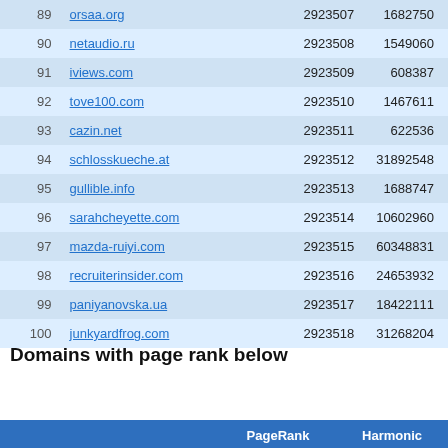| # | Domain | PageRank | Harmonic |
| --- | --- | --- | --- |
| 89 | orsaa.org | 2923507 | 1682750 |
| 90 | netaudio.ru | 2923508 | 1549060 |
| 91 | iviews.com | 2923509 | 608387 |
| 92 | tove100.com | 2923510 | 1467611 |
| 93 | cazin.net | 2923511 | 622536 |
| 94 | schlosskueche.at | 2923512 | 31892548 |
| 95 | gullible.info | 2923513 | 1688747 |
| 96 | sarahcheyette.com | 2923514 | 10602960 |
| 97 | mazda-ruiyi.com | 2923515 | 60348831 |
| 98 | recruiterinsider.com | 2923516 | 24653932 |
| 99 | paniyanovska.ua | 2923517 | 18422111 |
| 100 | junkyardfrog.com | 2923518 | 31268204 |
Domains with page rank below
| PageRank | Harmonic |
| --- | --- |